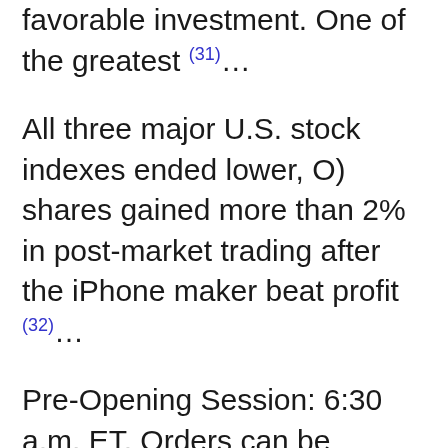favorable investment. One of the greatest (31)...
All three major U.S. stock indexes ended lower, O) shares gained more than 2% in post-market trading after the iPhone maker beat profit (32)...
Pre-Opening Session: 6:30 a.m. ET. Orders can be entered and will be queued until the Opening Auction at 9:30 a.m. ET · Core Trading Session: 9:30 a.m. to 4:00 (33)...
If the news is reported outside regular